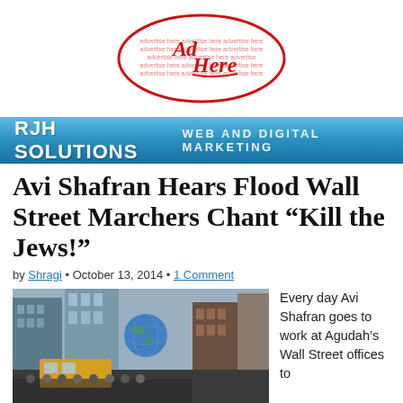[Figure (logo): Advertise Here logo with red handwritten-style text on white background]
[Figure (logo): RJH Solutions Web and Digital Marketing banner with blue gradient background]
Avi Shafran Hears Flood Wall Street Marchers Chant “Kill the Jews!”
by Shragi • October 13, 2014 • 1 Comment
[Figure (photo): Street scene with marchers, tall buildings, and a large globe balloon floating above]
Every day Avi Shafran goes to work at Agudah’s Wall Street offices to